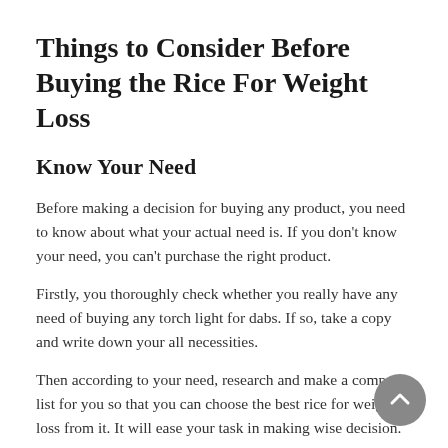Things to Consider Before Buying the Rice For Weight Loss
Know Your Need
Before making a decision for buying any product, you need to know about what your actual need is. If you don't know your need, you can't purchase the right product.
Firstly, you thoroughly check whether you really have any need of buying any torch light for dabs. If so, take a copy and write down your all necessities.
Then according to your need, research and make a compact list for you so that you can choose the best rice for weight loss from it. It will ease your task in making wise decision.